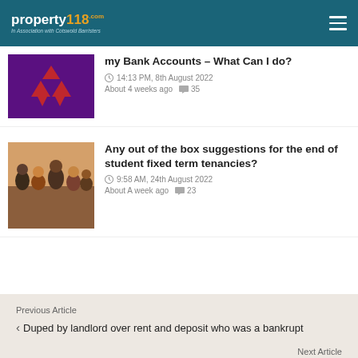property118 In Association with Cotswold Barristers
my Bank Accounts – What Can I do?
14:13 PM, 8th August 2022
About 4 weeks ago  35
[Figure (photo): Group of young people sitting together indoors]
Any out of the box suggestions for the end of student fixed term tenancies?
9:58 AM, 24th August 2022
About A week ago  23
Previous Article
Duped by landlord over rent and deposit who was a bankrupt
Next Article